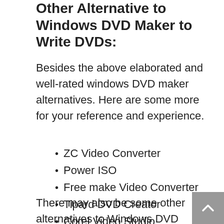Other Alternative to Windows DVD Maker to Write DVDs:
Besides the above elaborated and well-rated windows DVD maker alternatives. Here are some more for your reference and experience.
ZC Video Converter
Power ISO
Free make Video Converter
Tipard DVD Creator
Corel Video Studio
Any Burn
Nero
There may also be some other alternatives to Windows DVD maker software, do share in the comments below.